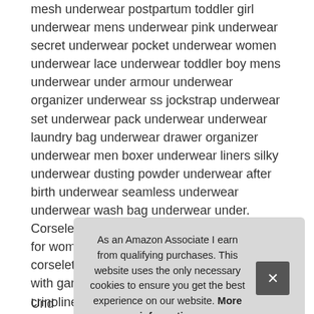mesh underwear postpartum toddler girl underwear mens underwear pink underwear secret underwear pocket underwear women underwear lace underwear toddler boy mens underwear under armour underwear organizer underwear ss jockstrap underwear set underwear pack underwear underwear laundry bag underwear drawer organizer underwear men boxer underwear liners silky underwear dusting powder underwear after birth underwear seamless underwear underwear wash bag underwear under. Corselette for women corselet dress corselet for women plus size black corselet strapless corselet corselet for women belt corselette with garters corselet for men underskirt crinoline underskirt underskirt slip underskirt for wedding dress underskirt wedding dress underskirt for gown underskirt hoop underskirt girls und und und
As an Amazon Associate I earn from qualifying purchases. This website uses the only necessary cookies to ensure you get the best experience on our website. More information
Und